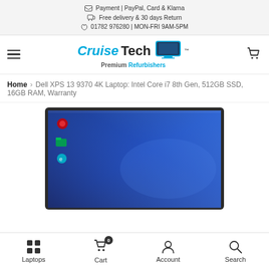Payment | PayPal, Card & Klarna
Free delivery & 30 days Return
01782 976280 | MON-FRI 9AM-5PM
[Figure (logo): CruiseTech Premium Refurbishers logo with laptop icon]
Home > Dell XPS 13 9370 4K Laptop: Intel Core i7 8th Gen, 512GB SSD, 16GB RAM, Warranty
[Figure (photo): Dell XPS 13 laptop with blue desktop screen showing Windows icons]
Laptops | Cart (0) | Account | Search